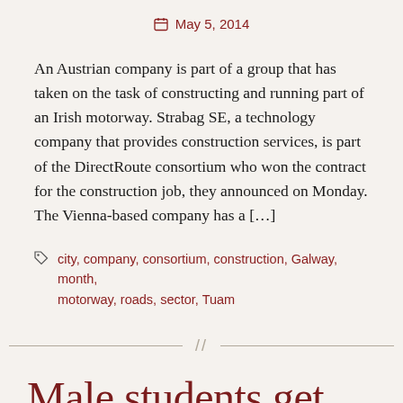May 5, 2014
An Austrian company is part of a group that has taken on the task of constructing and running part of an Irish motorway. Strabag SE, a technology company that provides construction services, is part of the DirectRoute consortium who won the contract for the construction job, they announced on Monday. The Vienna-based company has a […]
city, company, consortium, construction, Galway, month, motorway, roads, sector, Tuam
Male students get more